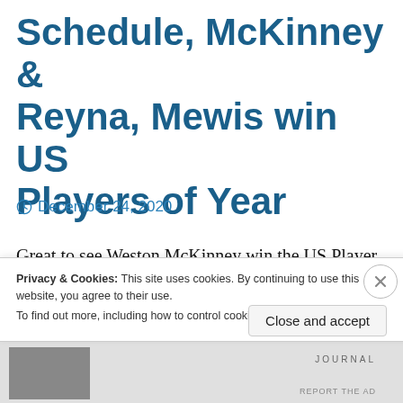Schedule, McKinney & Reyna, Mewis win US Players of Year
December 24, 2020
Great to see Weston McKinney win the US Player of the Year this year.  What a year for McKinney as he gambled on himself on loan to Juventus and has become a starter and full out star with the Old Lady!  Gio Reyna is a worthy
Privacy & Cookies: This site uses cookies. By continuing to use this website, you agree to their use.
To find out more, including how to control cookies, see here: Cookie Policy
Close and accept